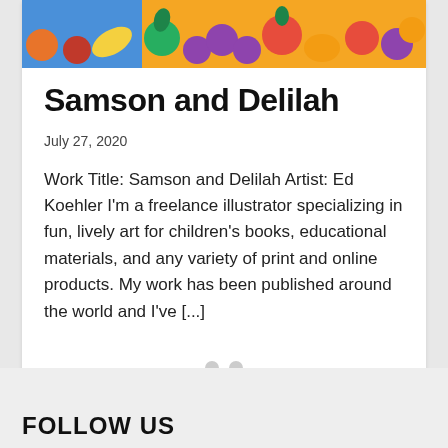[Figure (illustration): Colorful illustrated image of fruit and food items including bananas, oranges, grapes, apples in a bright, lively children's book style]
Samson and Delilah
July 27, 2020
Work Title: Samson and Delilah Artist: Ed Koehler I'm a freelance illustrator specializing in fun, lively art for children's books, educational materials, and any variety of print and online products. My work has been published around the world and I've [...]
FOLLOW US